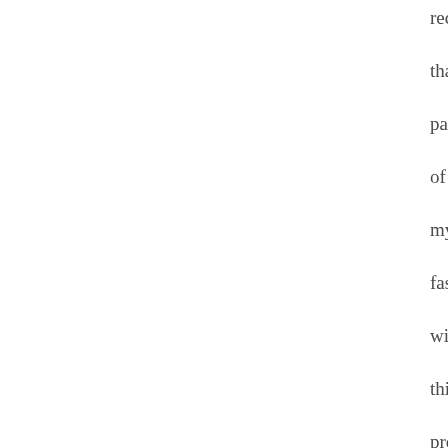rec tha par of my fas wit thi pro is a res of me bei a tec nei wh